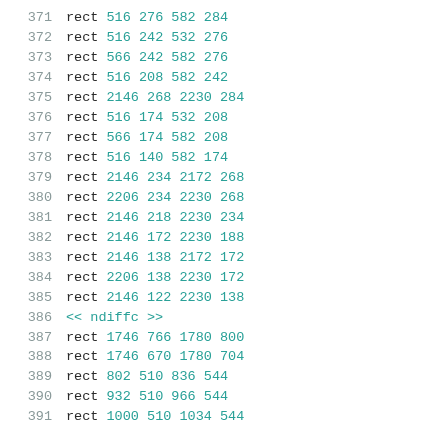371    rect 516 276 582 284
372    rect 516 242 532 276
373    rect 566 242 582 276
374    rect 516 208 582 242
375    rect 2146 268 2230 284
376    rect 516 174 532 208
377    rect 566 174 582 208
378    rect 516 140 582 174
379    rect 2146 234 2172 268
380    rect 2206 234 2230 268
381    rect 2146 218 2230 234
382    rect 2146 172 2230 188
383    rect 2146 138 2172 172
384    rect 2206 138 2230 172
385    rect 2146 122 2230 138
386    << ndiffc >>
387    rect 1746 766 1780 800
388    rect 1746 670 1780 704
389    rect 802 510 836 544
390    rect 932 510 966 544
391    rect 1000 510 1034 544